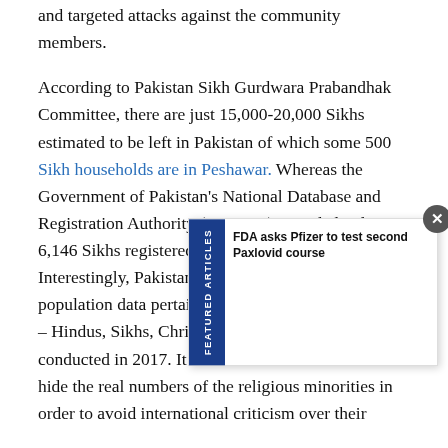and targeted attacks against the community members.
According to Pakistan Sikh Gurdwara Prabandhak Committee, there are just 15,000-20,000 Sikhs estimated to be left in Pakistan of which some 500 Sikh households are in Peshawar. Whereas the Government of Pakistan's National Database and Registration Authority (NADRA) recorded only 6,146 Sikhs registered in Pakistan in 2012. Interestingly, Pakistan has not yet released the population data pertaining to minority communities – Hindus, Sikhs, Christians etc, since the last census conducted in 2017. It is clear that Pakistan wants to hide the real numbers of the religious minorities in order to avoid international criticism over their